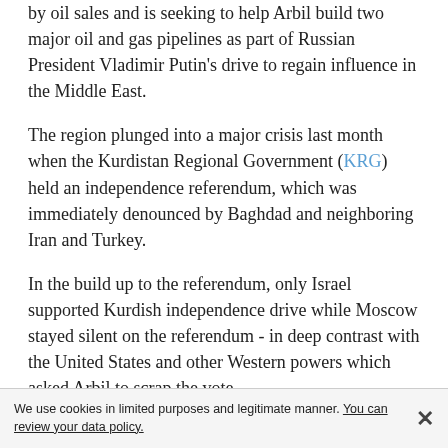by oil sales and is seeking to help Arbil build two major oil and gas pipelines as part of Russian President Vladimir Putin's drive to regain influence in the Middle East.
The region plunged into a major crisis last month when the Kurdistan Regional Government (KRG) held an independence referendum, which was immediately denounced by Baghdad and neighboring Iran and Turkey.
In the build up to the referendum, only Israel supported Kurdish independence drive while Moscow stayed silent on the referendum - in deep contrast with the United States and other Western powers which asked Arbil to scrap the vote.
Iraq, Iran and Turkey blocked Arbil's air traffic and banking communications and on Oct. 17 Iraqi forces retook major fields back from the Kurdish Peshmerga forces, thus effectively halving oil production under direct control of Arbil.
We use cookies in limited purposes and legitimate manner. You can review your data policy.